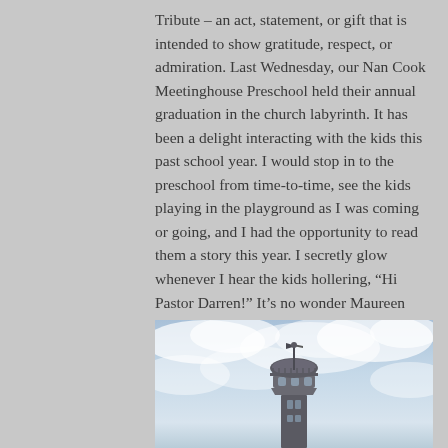Tribute – an act, statement, or gift that is intended to show gratitude, respect, or admiration. Last Wednesday, our Nan Cook Meetinghouse Preschool held their annual graduation in the church labyrinth. It has been a delight interacting with the kids this past school year. I would stop in to the preschool from time-to-time, see the kids playing in the playground as I was coming or going, and I had the opportunity to read them a story this year. I secretly glow whenever I hear the kids hollering, “Hi Pastor Darren!” It’s no wonder Maureen Vigneau and Susan Kiklis love their jobs, the kids bring such joy!
[Figure (photo): Photo of a church steeple or cupola against a cloudy blue-white sky]